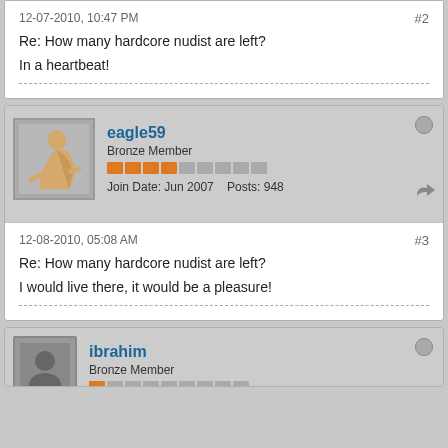12-07-2010, 10:47 PM  #2
Re: How many hardcore nudist are left?
In a heartbeat!
eagle59
Bronze Member
Join Date: Jun 2007  Posts: 948
12-08-2010, 05:08 AM  #3
Re: How many hardcore nudist are left?
I would live there, it would be a pleasure!
ibrahim
Bronze Member